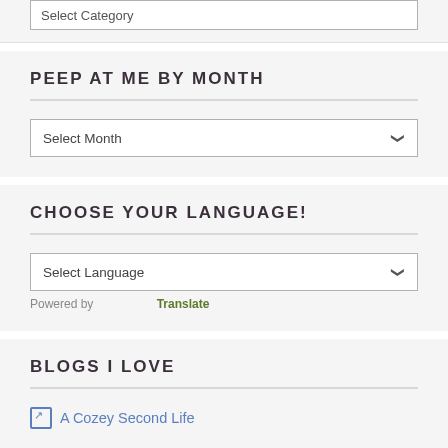PEEP AT ME BY MONTH
Select Month
CHOOSE YOUR LANGUAGE!
Select Language
Powered by Translate
BLOGS I LOVE
A Cozey Second Life